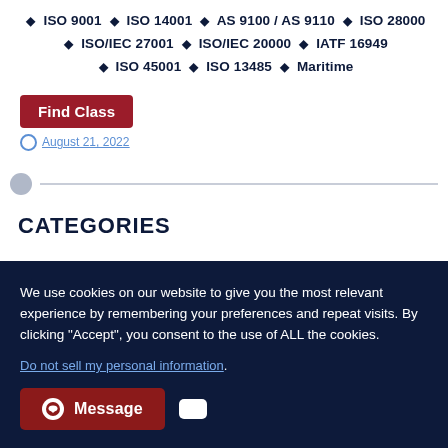ISO 9001 ◆ ISO 14001 ◆ AS 9100 / AS 9110 ◆ ISO 28000 ◆ ISO/IEC 27001 ◆ ISO/IEC 20000 ◆ IATF 16949 ◆ ISO 45001 ◆ ISO 13485 ◆ Maritime
Find Class
August 21, 2022
CATEGORIES
We use cookies on our website to give you the most relevant experience by remembering your preferences and repeat visits. By clicking "Accept", you consent to the use of ALL the cookies.
Do not sell my personal information.
Message